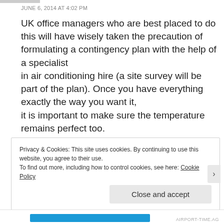JUNE 6, 2014 AT 4:02 PM
UK office managers who are best placed to do this will have wisely taken the precaution of formulating a contingency plan with the help of a specialist in air conditioning hire (a site survey will be part of the plan). Once you have everything exactly the way you want it, it is important to make sure the temperature remains perfect too. It should read close to ambient temperature at startup, and run to between 180.
Privacy & Cookies: This site uses cookies. By continuing to use this website, you agree to their use. To find out more, including how to control cookies, see here: Cookie Policy
Close and accept